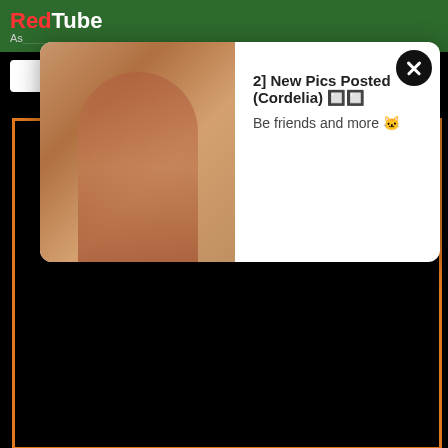RedTube
As...
[Figure (screenshot): Popup notification overlay showing a woman posing, with text '2] New Pics Posted (Cordelia) 🔲🔲' and 'Be friends and more 🐱' and a close (X) button]
[Figure (photo): Large black video player area with an orange border frame]